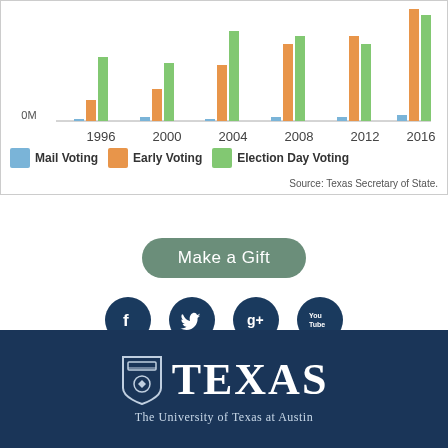[Figure (grouped-bar-chart): Texas Voting Methods Over Time]
Make a Gift
About | Contact
[Figure (logo): University of Texas at Austin logo with shield and TEXAS text]